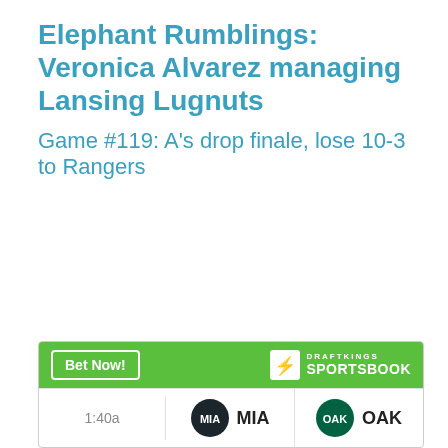Elephant Rumblings: Veronica Alvarez managing Lansing Lugnuts
Game #119: A's drop finale, lose 10-3 to Rangers
[Figure (infographic): DraftKings Sportsbook advertisement widget showing a bet panel with 'Bet Now!' button and a matchup between MIA (Miami) and OAK (Oakland) at 1:40a]